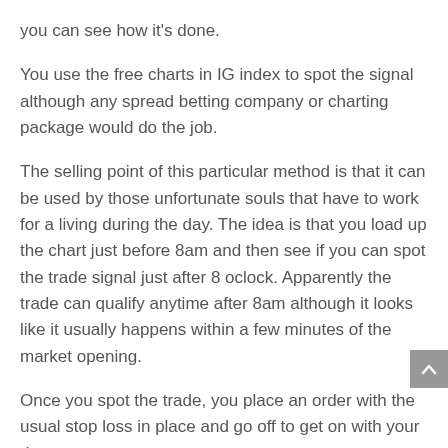you can see how it's done.
You use the free charts in IG index to spot the signal although any spread betting company or charting package would do the job.
The selling point of this particular method is that it can be used by those unfortunate souls that have to work for a living during the day. The idea is that you load up the chart just before 8am and then see if you can spot the trade signal just after 8 oclock. Apparently the trade can qualify anytime after 8am although it looks like it usually happens within a few minutes of the market opening.
Once you spot the trade, you place an order with the usual stop loss in place and go off to get on with your day.